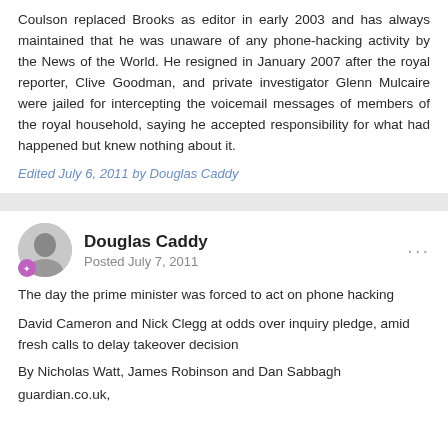Coulson replaced Brooks as editor in early 2003 and has always maintained that he was unaware of any phone-hacking activity by the News of the World. He resigned in January 2007 after the royal reporter, Clive Goodman, and private investigator Glenn Mulcaire were jailed for intercepting the voicemail messages of members of the royal household, saying he accepted responsibility for what had happened but knew nothing about it.
Edited July 6, 2011 by Douglas Caddy
Douglas Caddy
Posted July 7, 2011
The day the prime minister was forced to act on phone hacking
David Cameron and Nick Clegg at odds over inquiry pledge, amid fresh calls to delay takeover decision
By Nicholas Watt, James Robinson and Dan Sabbagh
guardian.co.uk,